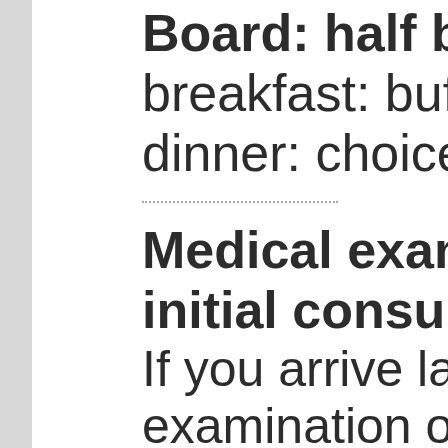Board: half board
breakfast: buffet tab
dinner: choice from 3
Medical examination
initial consultation
If you arrive later an
examination on arriv